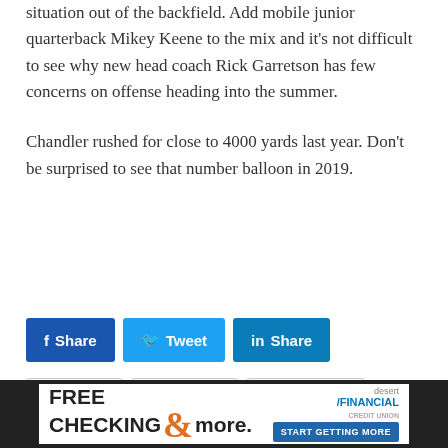situation out of the backfield. Add mobile junior quarterback Mikey Keene to the mix and it's not difficult to see why new head coach Rick Garretson has few concerns on offense heading into the summer.
Chandler rushed for close to 4000 yards last year. Don't be surprised to see that number balloon in 2019.
[Figure (infographic): Social sharing buttons: Share (Facebook, blue), Tweet (Twitter, light blue), Share (LinkedIn, dark blue)]
Adryan Lara   Braxton Silbor   Brophy Broncos
[Figure (infographic): Advertisement banner for Desert Financial Credit Union: FREE CHECKING & more. START GETTING MORE]